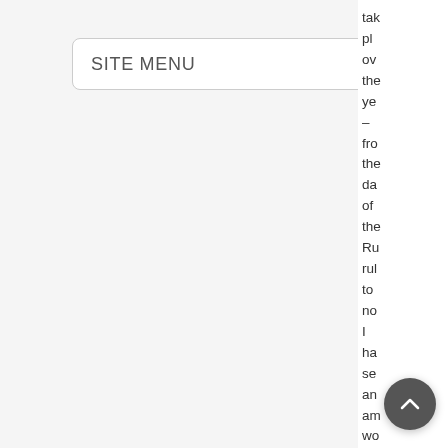[Figure (screenshot): Site menu dropdown UI element with rounded rectangle border, label 'SITE MENU' and chevron icon on right]
tak pl ov the ye – fro the da of the Ru rul to no I ha se an am wo rel